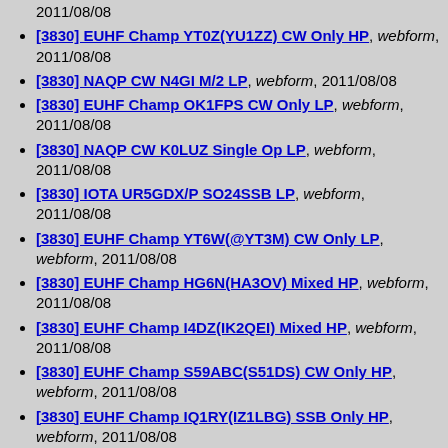2011/08/08 (truncated top)
[3830] EUHF Champ YT0Z(YU1ZZ) CW Only HP, webform, 2011/08/08
[3830] NAQP CW N4GI M/2 LP, webform, 2011/08/08
[3830] EUHF Champ OK1FPS CW Only LP, webform, 2011/08/08
[3830] NAQP CW K0LUZ Single Op LP, webform, 2011/08/08
[3830] IOTA UR5GDX/P SO24SSB LP, webform, 2011/08/08
[3830] EUHF Champ YT6W(@YT3M) CW Only LP, webform, 2011/08/08
[3830] EUHF Champ HG6N(HA3OV) Mixed HP, webform, 2011/08/08
[3830] EUHF Champ I4DZ(IK2QEI) Mixed HP, webform, 2011/08/08
[3830] EUHF Champ S59ABC(S51DS) CW Only HP, webform, 2011/08/08
[3830] EUHF Champ IQ1RY(IZ1LBG) SSB Only HP, webform, 2011/08/08
[3830] EUHF Champ UW1M(UR5MW) Mixed HP, webform, 2011/08/08
[3830] IARU OZ4FF SO CW LP, webform, 2011/08/07
[3830] ARRL UHF W9SZ Single Op LP, webform, 2011/08/07
[3830] EUHF Champ YO9HP SSB Only HP, webform, 2011/08/07 (truncated bottom)